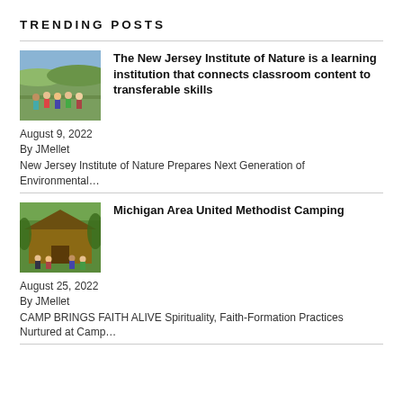TRENDING POSTS
[Figure (photo): Group of children outdoors in a field with hills in background]
The New Jersey Institute of Nature is a learning institution that connects classroom content to transferable skills
August 9, 2022
By JMellet
New Jersey Institute of Nature Prepares Next Generation of Environmental…
[Figure (photo): Group of people in front of a wooden cabin structure surrounded by trees]
Michigan Area United Methodist Camping
August 25, 2022
By JMellet
CAMP BRINGS FAITH ALIVE Spirituality, Faith-Formation Practices Nurtured at Camp…